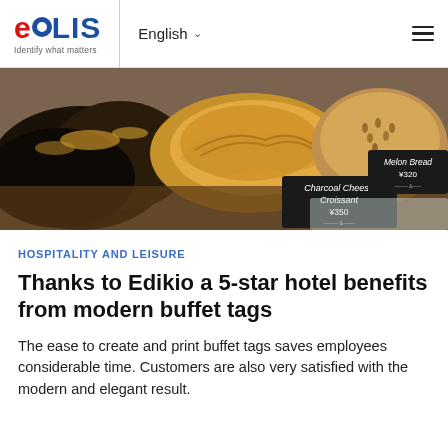Evolis — Identify what matters | English
[Figure (photo): Close-up photo of assorted pastries and bread rolls on a bakery display, including dark charcoal croissants and golden pastries, with black label signs reading 'Charcoal Cheese Croissant ¥350' and 'Melon Bread ¥320']
HOSPITALITY AND LEISURE
Thanks to Edikio a 5-star hotel benefits from modern buffet tags
The ease to create and print buffet tags saves employees considerable time. Customers are also very satisfied with the modern and elegant result.